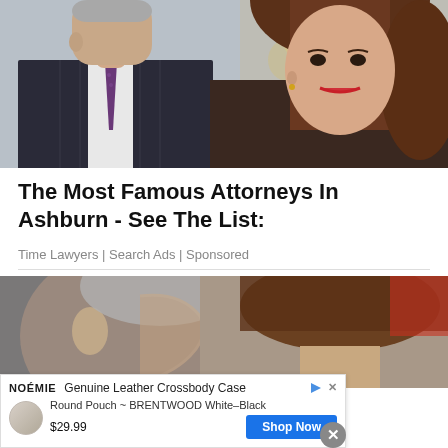[Figure (photo): Two people posing together: a man in a pinstripe suit with a purple tie on the left, and a woman with brown hair and red lipstick on the right, photographed at an indoor venue with warm lighting.]
The Most Famous Attorneys In Ashburn - See The List:
Time Lawyers | Search Ads | Sponsored
[Figure (photo): Two men photographed closely together, showing their heads from different angles — one in profile with short gray hair, one from behind with brown hair.]
Genuine Leather Crossbody Case
Round Pouch ~ BRENTWOOD White-Black
$29.99  [Shop Now]